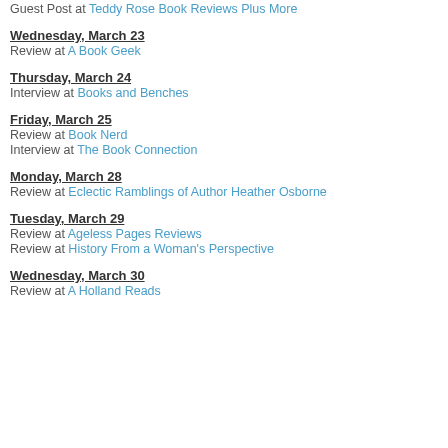Guest Post at Teddy Rose Book Reviews Plus More
Wednesday, March 23
Review at A Book Geek
Thursday, March 24
Interview at Books and Benches
Friday, March 25
Review at Book Nerd
Interview at The Book Connection
Monday, March 28
Review at Eclectic Ramblings of Author Heather Osborne
Tuesday, March 29
Review at Ageless Pages Reviews
Review at History From a Woman's Perspective
Wednesday, March 30
Review at A Holland Reads